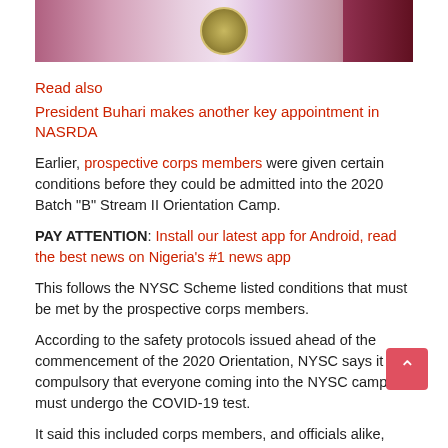[Figure (photo): Top portion of an image showing a stage or official setting with purple/pink decorations and a seal/emblem in the center, with a dark red section on the right.]
Read also
President Buhari makes another key appointment in NASRDA
Earlier, prospective corps members were given certain conditions before they could be admitted into the 2020 Batch “B” Stream II Orientation Camp.
PAY ATTENTION: Install our latest app for Android, read the best news on Nigeria's #1 news app
This follows the NYSC Scheme listed conditions that must be met by the prospective corps members.
According to the safety protocols issued ahead of the commencement of the 2020 Orientation, NYSC says it was compulsory that everyone coming into the NYSC camps must undergo the COVID-19 test.
It said this included corps members, and officials alike,